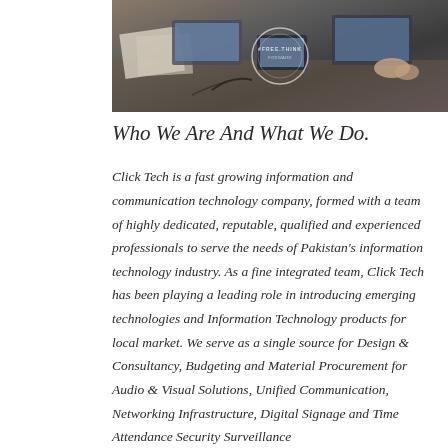[Figure (photo): Overhead photo of people working around a table with laptops, tablets, and documents. A circular logo or overlay is visible in the center of the image.]
Who We Are And What We Do.
Click Tech is a fast growing information and communication technology company, formed with a team of highly dedicated, reputable, qualified and experienced professionals to serve the needs of Pakistan's information technology industry. As a fine integrated team, Click Tech has been playing a leading role in introducing emerging technologies and Information Technology products for local market. We serve as a single source for Design & Consultancy, Budgeting and Material Procurement for Audio & Visual Solutions, Unified Communication, Networking Infrastructure, Digital Signage and Time Attendance Security Surveillance